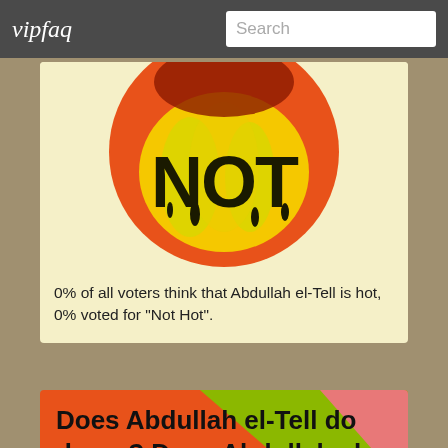vipfaq
[Figure (illustration): Circular illustration with orange and yellow background showing the word 'NOT' in large black dripping letters]
0% of all voters think that Abdullah el-Tell is hot, 0% voted for "Not Hot".
[Figure (illustration): Colorful background with diagonal red, orange, yellow, and green stripes]
Does Abdullah el-Tell do drugs? Does Abdullah el-Tell smoke cigarettes or weed?